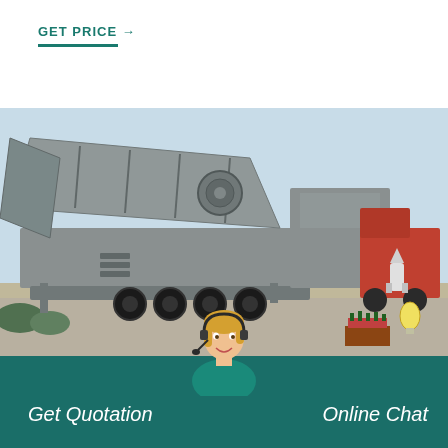GET PRICE →
[Figure (photo): Large mobile crushing/screening plant on a multi-axle trailer parked on a concrete yard, another red truck visible in the background. Heavy industrial machinery in grey color.]
Get Quotation
[Figure (photo): Customer service agent woman with headset smiling]
Online Chat